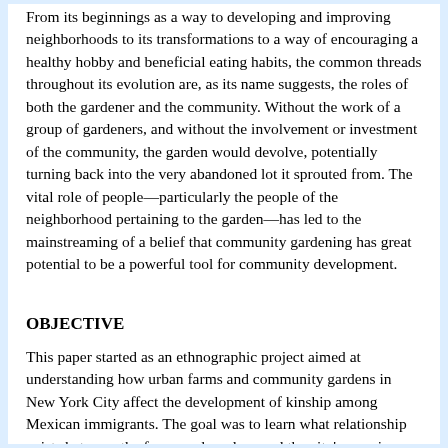From its beginnings as a way to developing and improving neighborhoods to its transformations to a way of encouraging a healthy hobby and beneficial eating habits, the common threads throughout its evolution are, as its name suggests, the roles of both the gardener and the community. Without the work of a group of gardeners, and without the involvement or investment of the community, the garden would devolve, potentially turning back into the very abandoned lot it sprouted from. The vital role of people—particularly the people of the neighborhood pertaining to the garden—has led to the mainstreaming of a belief that community gardening has great potential to be a powerful tool for community development.
OBJECTIVE
This paper started as an ethnographic project aimed at understanding how urban farms and community gardens in New York City affect the development of kinship among Mexican immigrants. The goal was to learn what relationship exists between the farms and gardens and the city's growing Mexican immigrant population, specifically in terms of kinship and community development. Initially, research was to center around observing and communicating with individuals who work or volunteer at farms or gardens in Brooklyn, New York. Of the city's